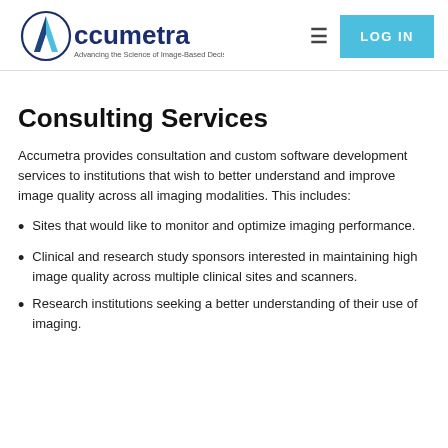[Figure (logo): Accumetra logo with stylized A in a circle and tagline 'Advancing the Science of Image-Based Decision Making']
Consulting Services
Accumetra provides consultation and custom software development services to institutions that wish to better understand and improve image quality across all imaging modalities. This includes:
Sites that would like to monitor and optimize imaging performance.
Clinical and research study sponsors interested in maintaining high image quality across multiple clinical sites and scanners.
Research institutions seeking a better understanding of their use of imaging.